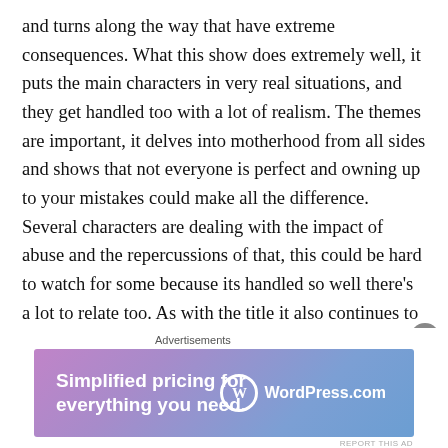and turns along the way that have extreme consequences. What this show does extremely well, it puts the main characters in very real situations, and they get handled too with a lot of realism. The themes are important, it delves into motherhood from all sides and shows that not everyone is perfect and owning up to your mistakes could make all the difference. Several characters are dealing with the impact of abuse and the repercussions of that, this could be hard to watch for some because its handled so well there's a lot to relate too. As with the title it also continues to delve into the implication of lies, how a simple lie can eat and gnaw away until you ultimately reach breaking point and there is no turning back. The writing is
Advertisements
[Figure (other): Advertisement banner for WordPress.com with text 'Simplified pricing for everything you need.' and WordPress.com logo on a purple-blue gradient background.]